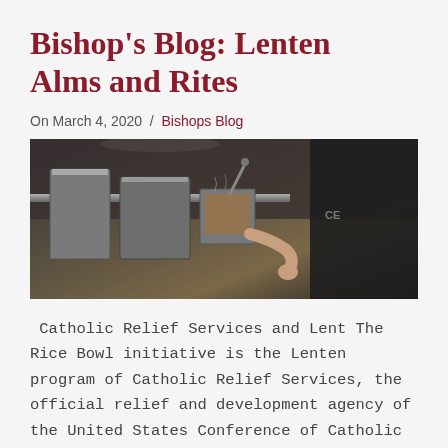Bishop's Blog: Lenten Alms and Rites
On March 4, 2020  /  Bishops Blog
[Figure (photo): Person working in a commercial kitchen with metal pans and cooking equipment]
Catholic Relief Services and Lent The Rice Bowl initiative is the Lenten program of Catholic Relief Services, the official relief and development agency of the United States Conference of Catholic Bishops. Through CRS's Rice Bowl, faith communities in every diocese throughout the United States live out
Read more →